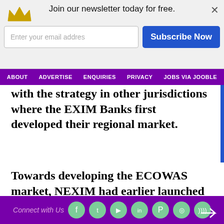[Figure (infographic): Newsletter signup bar with crown icon, email input field, and blue Subscribe Now button with close X]
ABOUT  ADVERTISE  ENQUIRIES  PRIVACY  JOBS VIA JOOBLE
with the strategy in other jurisdictions where the EXIM Banks first developed their regional market.
Towards developing the ECOWAS market, NEXIM had earlier launched the ECOWAS Trade Support Facility (ETSF) to reduce the level of informal trade and encourage small scale exporters to use the banking system to leverage their operations.
Orya also noted that NEXIM is facilitating the
Connect with Us